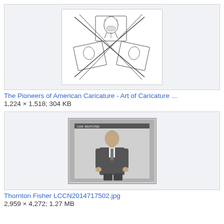[Figure (illustration): Drawing of caricature portraits - multiple faces arranged in a group illustration with crossed lines, line art style]
The Pioneers of American Caricature - Art of Caricature ...
1,224 × 1,518; 304 KB
[Figure (photo): Black and white photograph of a man (Thornton Fisher) standing, formal attire]
Thornton Fisher LCCN2014717502.jpg
2,959 × 4,272; 1.27 MB